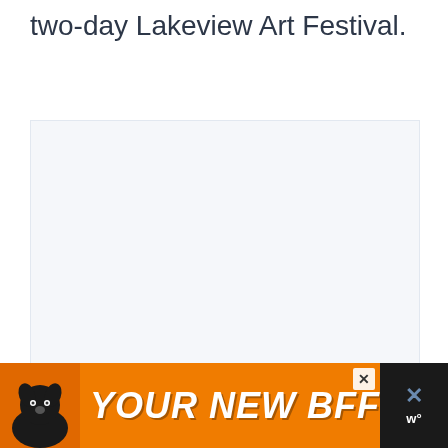two-day Lakeview Art Festival.
[Figure (photo): Large image placeholder area with light gray background, showing loading dots in the center]
[Figure (illustration): Advertisement banner with orange background showing a black dog and text 'YOUR NEW BFF' in white bold italic letters, with a close button and weather icon on the right side]